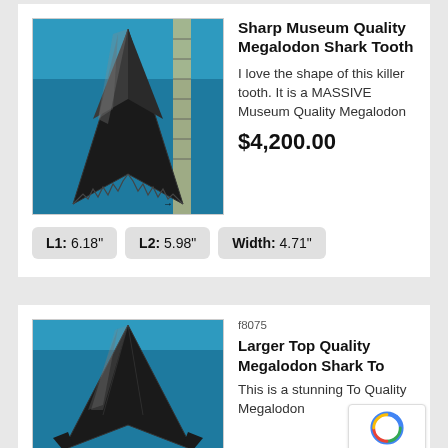[Figure (photo): Photo of a large black Megalodon shark tooth on blue background with ruler]
Sharp Museum Quality Megalodon Shark Tooth
I love the shape of this killer tooth.  It is a MASSIVE Museum Quality Megalodon
$4,200.00
L1: 6.18"  L2: 5.98"  Width: 4.71"
f8075
Larger Top Quality Megalodon Shark To
This is a stunning To Quality Megalodon
[Figure (photo): Photo of a large black Megalodon shark tooth on blue background]